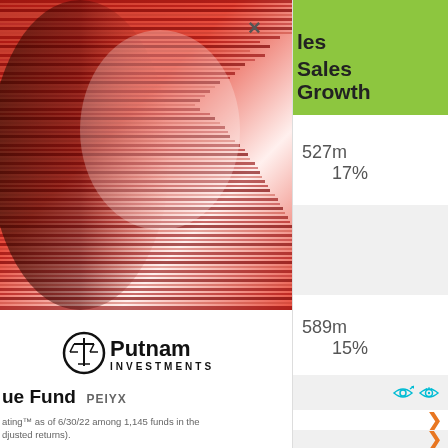[Figure (photo): Abstract red digital art image showing a side profile of a face with flowing red stripe-like patterns, used as hero image for Putnam Investments fund]
[Figure (logo): Putnam Investments logo with scales of justice icon and text 'Putnam INVESTMENTS']
ue Fund PEIYX
ating™ as of 6/30/22 among 1,145 funds in the djusted returns).
| les | Sales
Growth |  |
| --- | --- | --- |
| 527m | 17% |  |
|  |  |  |
| 589m | 15% |  |
|  |  |  |
|  |  | ▶ |
|  |  | ▶ |